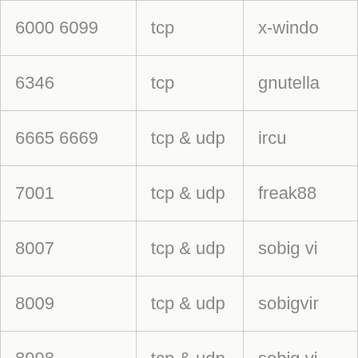| Port | Protocol | Description |
| --- | --- | --- |
| 6000 6099 | tcp | x-windo |
| 6346 | tcp | gnutella |
| 6665 6669 | tcp & udp | ircu |
| 7001 | tcp & udp | freak88 |
| 8007 | tcp & udp | sobig vi |
| 8009 | tcp & udp | sobigvir |
| 8998 | tcp & udp | sobig vi |
| 12345 | tcp | backdoo |
| 12346 | tcp | backdoo |